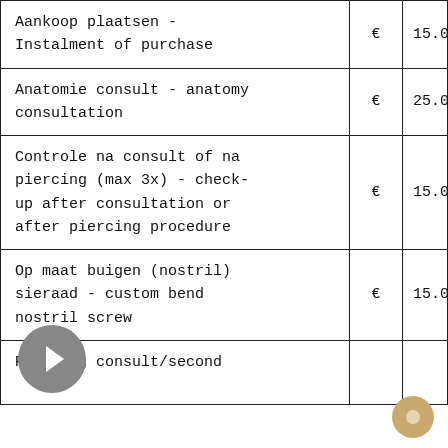| Description | € | Amount |
| --- | --- | --- |
| Aankoop plaatsen - Instalment of purchase | € | 15.0 |
| Anatomie consult - anatomy consultation | € | 25.0 |
| Controle na consult of na piercing (max 3x) - check-up after consultation or after piercing procedure | € | 15.0 |
| Op maat buigen (nostril) sieraad - custom bend nostril screw | € | 15.0 |
| Piercing consult/second | € |  |